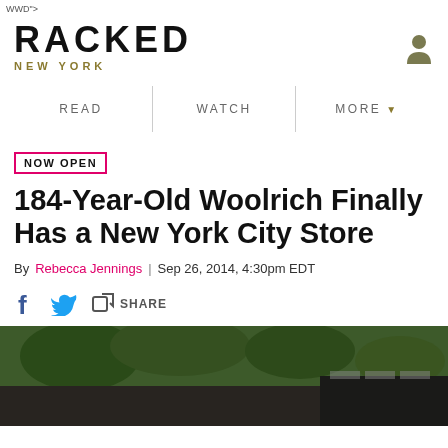WWD">
[Figure (logo): Racked New York logo with user icon]
READ | WATCH | MORE
NOW OPEN
184-Year-Old Woolrich Finally Has a New York City Store
By Rebecca Jennings | Sep 26, 2014, 4:30pm EDT
f [twitter] SHARE
[Figure (photo): Exterior photo of Woolrich New York City store with trees and dark storefront]